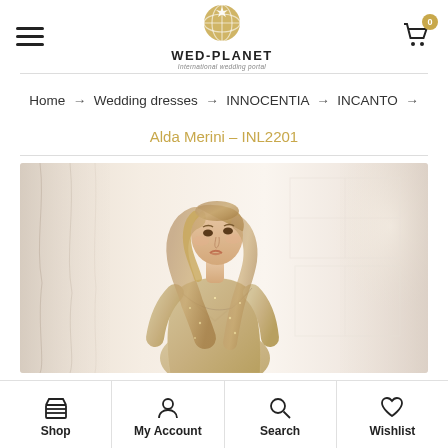WED-PLANET International wedding portal
Home → Wedding dresses → INNOCENTIA → INCANTO →
Alda Merini – INL2201
[Figure (photo): Fashion photo of a woman with blonde wavy hair wearing a sparkling/sequined wedding dress with a deep V-neckline, standing in front of sheer white curtains near a window with soft natural light]
Shop | My Account | Search | Wishlist